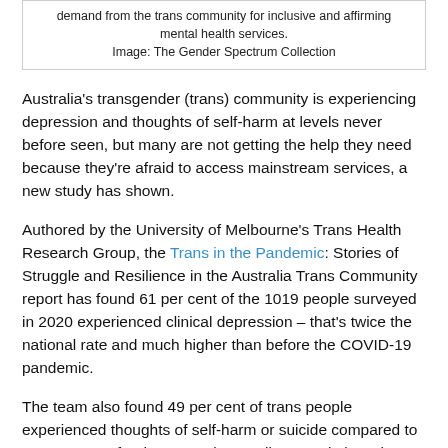demand from the trans community for inclusive and affirming mental health services.
Image: The Gender Spectrum Collection
Australia's transgender (trans) community is experiencing depression and thoughts of self-harm at levels never before seen, but many are not getting the help they need because they're afraid to access mainstream services, a new study has shown.
Authored by the University of Melbourne's Trans Health Research Group, the Trans in the Pandemic: Stories of Struggle and Resilience in the Australia Trans Community report has found 61 per cent of the 1019 people surveyed in 2020 experienced clinical depression – that's twice the national rate and much higher than before the COVID-19 pandemic.
The team also found 49 per cent of trans people experienced thoughts of self-harm or suicide compared to 14.9 per cent for the general Australian population who reported thoughts of self-harm or suicide in the initial months of the pandemic.